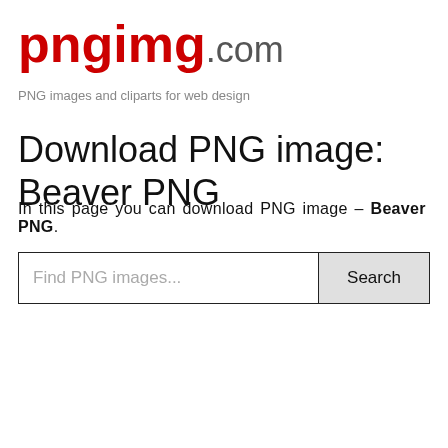pngimg.com
PNG images and cliparts for web design
Download PNG image: Beaver PNG
In this page you can download PNG image – Beaver PNG.
[Figure (screenshot): Search box with placeholder 'Find PNG images...' and a Search button]